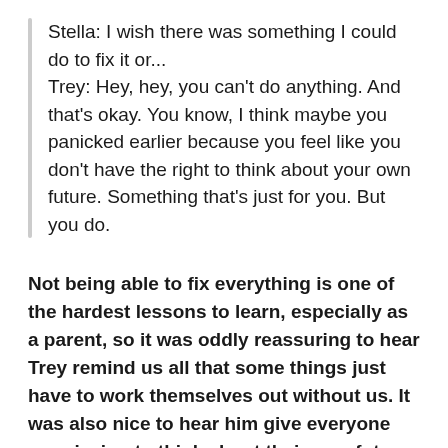Stella: I wish there was something I could do to fix it or...
Trey: Hey, hey, you can't do anything. And that's okay. You know, I think maybe you panicked earlier because you feel like you don't have the right to think about your own future. Something that's just for you. But you do.
Not being able to fix everything is one of the hardest lessons to learn, especially as a parent, so it was oddly reassuring to hear Trey remind us all that some things just have to work themselves out without us. It was also nice to hear him give everyone permission to think about their own future. He, Stella, Liam and Cordell are certainly working on that right now.